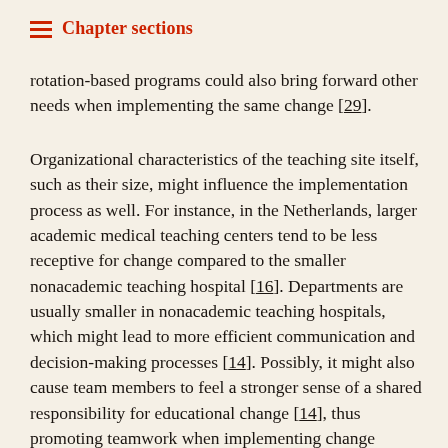Chapter sections
rotation-based programs could also bring forward other needs when implementing the same change [29].
Organizational characteristics of the teaching site itself, such as their size, might influence the implementation process as well. For instance, in the Netherlands, larger academic medical teaching centers tend to be less receptive for change compared to the smaller nonacademic teaching hospital [16]. Departments are usually smaller in nonacademic teaching hospitals, which might lead to more efficient communication and decision-making processes [14]. Possibly, it might also cause team members to feel a stronger sense of a shared responsibility for educational change [14], thus promoting teamwork when implementing change